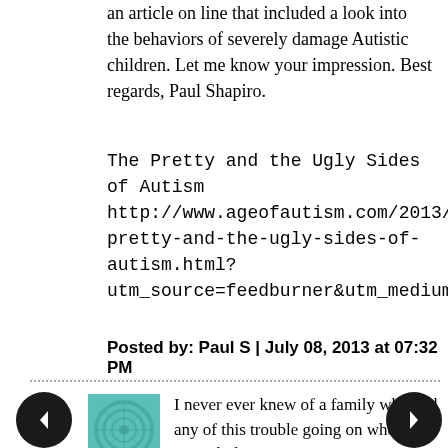an article on line that included a look into the behaviors of severely damage Autistic children. Let me know your impression. Best regards, Paul Shapiro.
The Pretty and the Ugly Sides of Autism http://www.ageofautism.com/2013/07/the-pretty-and-the-ugly-sides-of-autism.html?utm_source=feedburner&utm_medium=email&utm_campaign=Feed%3A+ageofautism+%28AGE+OF+AUTISM%29&utm_content=Yahoo%21+Mail
Posted by: Paul S | July 08, 2013 at 07:32 PM
[Figure (illustration): Teal/cyan square avatar with circular pattern texture]
I never ever knew of a family who had any of this trouble going on when I was a kid say 30 years or so ago. Its as bad as a